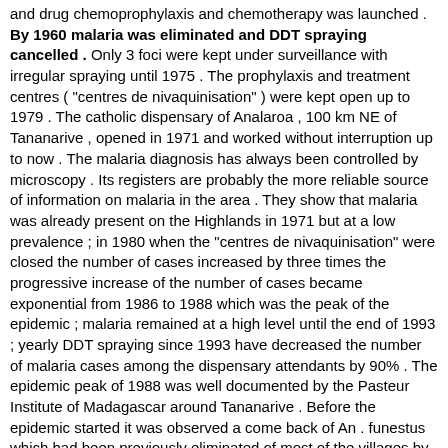and drug chemoprophylaxis and chemotherapy was launched . By 1960 malaria was eliminated and DDT spraying cancelled . Only 3 foci were kept under surveillance with irregular spraying until 1975 . The prophylaxis and treatment centres ( "centres de nivaquinisation" ) were kept open up to 1979 . The catholic dispensary of Analaroa , 100 km NE of Tananarive , opened in 1971 and worked without interruption up to now . The malaria diagnosis has always been controlled by microscopy . Its registers are probably the more reliable source of information on malaria in the area . They show that malaria was already present on the Highlands in 1971 but at a low prevalence ; in 1980 when the "centres de nivaquinisation" were closed the number of cases increased by three times the progressive increase of the number of cases became exponential from 1986 to 1988 which was the peak of the epidemic ; malaria remained at a high level until the end of 1993 ; yearly DDT spraying since 1993 have decreased the number of malaria cases among the dispensary attendants by 90% . The epidemic peak of 1988 was well documented by the Pasteur Institute of Madagascar around Tananarive . Before the epidemic started it was observed a come back of An . funestus which had been previously eliminated of most of the villages by DDT spraying . More than an epidemic the malaria increase in 1988 was a reconquest by malaria of the land from which it had been eliminated in the years 1950 . [ Sen. 11, subscore: 1.00 ]: Vector control and free access to antimalaria drugs controlled the disease . The authors have searched for the causes of the epidemic to propose a strategy avoiding such events . The Highlands on Madagascar were known as malaria free . In 1878 a very severe epidemic flooded all the country . Development of irrigated ricefields which house both An . arabiensis and An . funestus had created a new anthropic environment . Moreover manpower imported from malarious coastal areas for rice cultivation and also for building brought malaria to highland people . Deforestation . After some months there